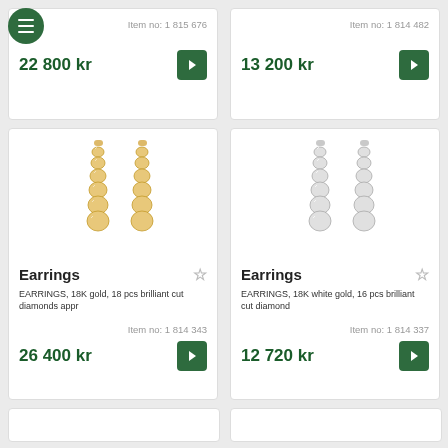Item no: 1 815 676
22 800 kr
Item no: 1 814 482
13 200 kr
[Figure (photo): Gold diamond earrings — two drop earrings with brilliant cut diamonds in 18K gold]
Earrings
EARRINGS, 18K gold, 18 pcs brilliant cut diamonds appr
Item no: 1 814 343
26 400 kr
[Figure (photo): White gold diamond earrings — two drop earrings with brilliant cut diamonds in 18K white gold]
Earrings
EARRINGS, 18K white gold, 16 pcs brilliant cut diamond
Item no: 1 814 337
12 720 kr